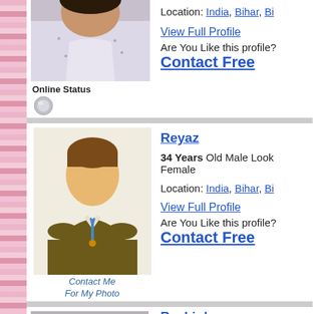[Figure (photo): Top portion of a man's photo, showing shirt and face partially visible]
Online Status
Location: India, Bihar, Bi...
View Full Profile
Are You Like this profile?
Contact Free
[Figure (illustration): Default male avatar placeholder with text 'Contact Me For My Photo']
Online Status
Reyaz
34 Years Old Male Look... Female
Location: India, Bihar, Bi...
View Full Profile
Are You Like this profile?
Contact Free
Ranbir kumar